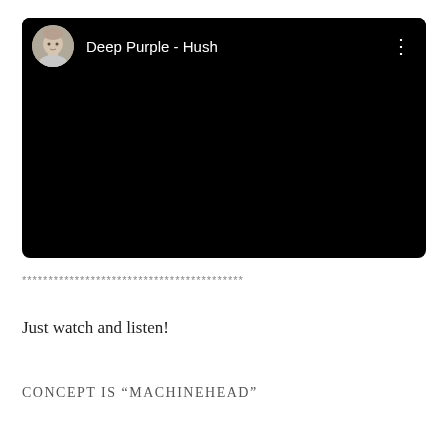[Figure (screenshot): A dark/black video player card with a circular user avatar on the top-left, the title 'Deep Purple - Hush' in white text, and a three-dot menu icon on the top-right. The main area of the video is completely black.]
******************************************
Just watch and listen!
CONCEPT IS “MACHINEHEAD”